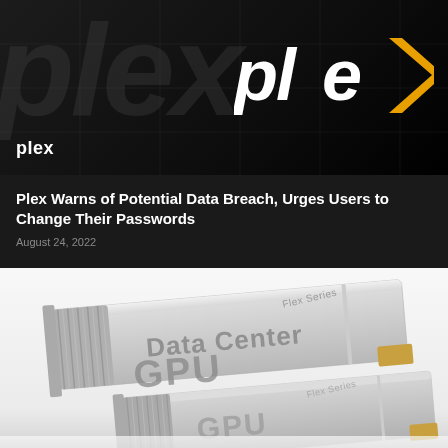[Figure (logo): Plex logo banner with dark background showing the Plex brand logo with white 'pl' and yellow/gold 'e>' symbol, plus ghost watermark text and grid lines overlay. Small 'plex' wordmark in bottom-left corner.]
Plex Warns of Potential Data Breach, Urges Users to Change Their Passwords
August 24, 2022
[Figure (photo): Product photo of Intel data center GPU hardware — two silver PCIe graphics cards labeled 'Data Center GPU' with 'Flex Series' branding, shown on a light gray/white background with reflection.]